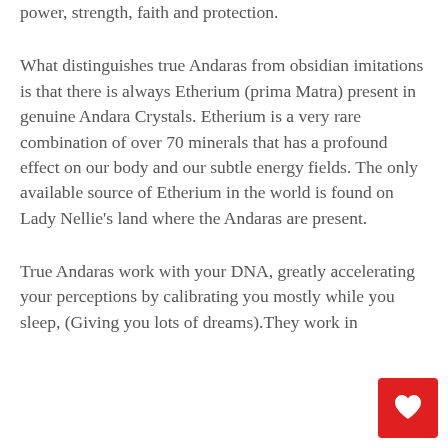power, strength, faith and protection.
What distinguishes true Andaras from obsidian imitations is that there is always Etherium (prima Matra) present in genuine Andara Crystals. Etherium is a very rare combination of over 70 minerals that has a profound effect on our body and our subtle energy fields. The only available source of Etherium in the world is found on Lady Nellie's land where the Andaras are present.
True Andaras work with your DNA, greatly accelerating your perceptions by calibrating you mostly while you sleep, (Giving you lots of dreams).They work in